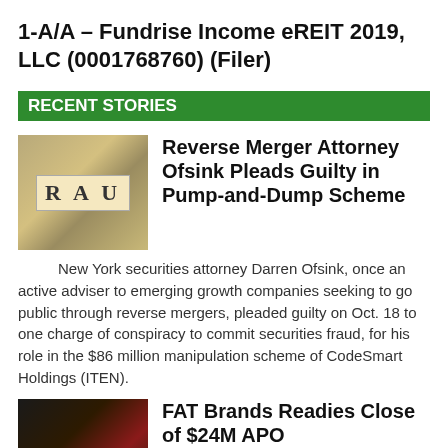1-A/A – Fundrise Income eREIT 2019, LLC (0001768760) (Filer)
RECENT STORIES
Reverse Merger Attorney Ofsink Pleads Guilty in Pump-and-Dump Scheme
New York securities attorney Darren Ofsink, once an active adviser to emerging growth companies seeking to go public through reverse mergers, pleaded guilty on Oct. 18 to one charge of conspiracy to commit securities fraud, for his role in the $86 million manipulation scheme of CodeSmart Holdings (ITEN).
FAT Brands Readies Close of $24M APO